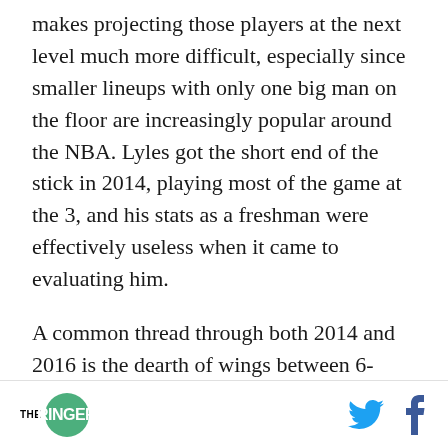makes projecting those players at the next level much more difficult, especially since smaller lineups with only one big man on the floor are increasingly popular around the NBA. Lyles got the short end of the stick in 2014, playing most of the game at the 3, and his stats as a freshman were effectively useless when it came to evaluating him.
A common thread through both 2014 and 2016 is the dearth of wings between 6-foot-4 and 6-foot-8 on the Kentucky roster. Both teams are made up primarily of guards and big men, but not many
[Figure (logo): The Ringer logo — green circle with white RINGER text, with THE in small text to its left. Twitter and Facebook social icons on the right.]